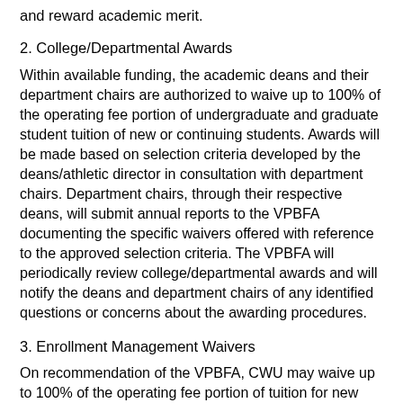and reward academic merit.
2.  College/Departmental Awards
Within available funding, the academic deans and their department chairs are authorized to waive up to 100% of the operating fee portion of undergraduate and graduate student tuition of new or continuing students. Awards will be made based on selection criteria developed by the deans/athletic director in consultation with department chairs. Department chairs, through their respective deans, will submit annual reports to the VPBFA documenting the specific waivers offered with reference to the approved selection criteria. The VPBFA will periodically review college/departmental awards and will notify the deans and department chairs of any identified questions or concerns about the awarding procedures.
3. Enrollment Management Waivers
On recommendation of the VPBFA, CWU may waive up to 100% of the operating fee portion of tuition for new and continuing domestic students to meet institutional recruitment, retention,